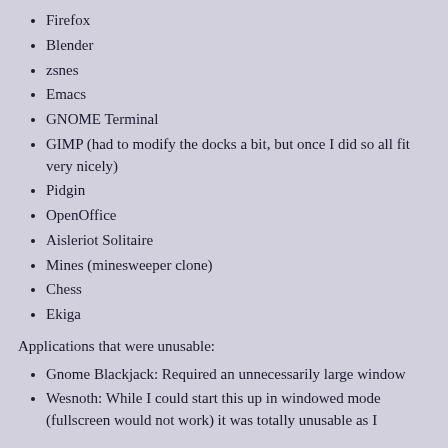Firefox
Blender
zsnes
Emacs
GNOME Terminal
GIMP (had to modify the docks a bit, but once I did so all fit very nicely)
Pidgin
OpenOffice
Aisleriot Solitaire
Mines (minesweeper clone)
Chess
Ekiga
Applications that were unusable:
Gnome Blackjack: Required an unnecessarily large window
Wesnoth: While I could start this up in windowed mode (fullscreen would not work) it was totally unusable as I